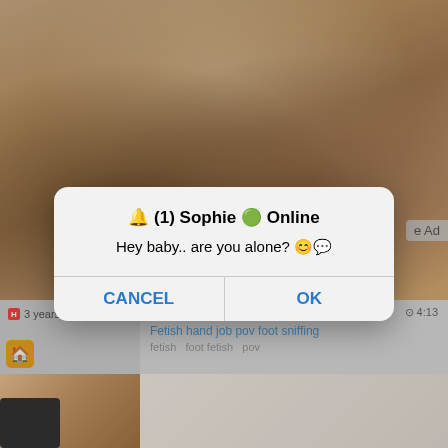[Figure (screenshot): Background screenshot of a website with adult content video thumbnails, blurred/grayed out behind a dialog box overlay]
3 years ago
4:13
Fetish hand job pov foot sniffing
fetish  foot fetish  pov
🔔 (1) Sophie 🟢 Online
Hey baby.. are you alone? 😊💬
CANCEL
OK